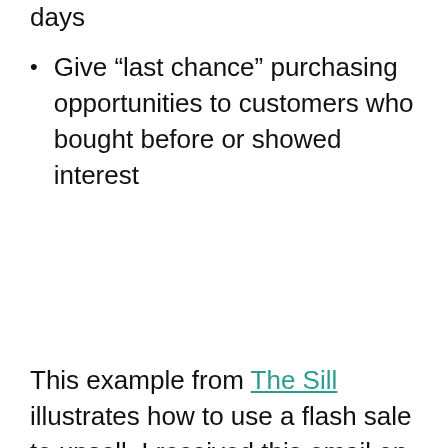days
Give “last chance” purchasing opportunities to customers who bought before or showed interest
This example from The Sill illustrates how to use a flash sale to upsell. I received this email on Friday for a limited time offer. If I shop this Saturday and Sunday, I will save on my next